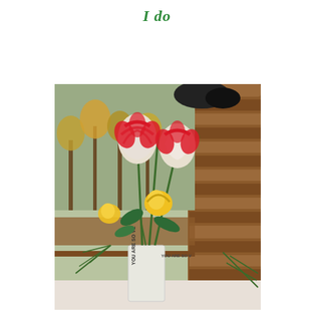I do
[Figure (photo): A bouquet of red-and-white and yellow roses in a white vase inscribed with 'YOU ARE SO VE...' sitting on a wooden surface, with a log cabin wall and autumn trees in the background.]